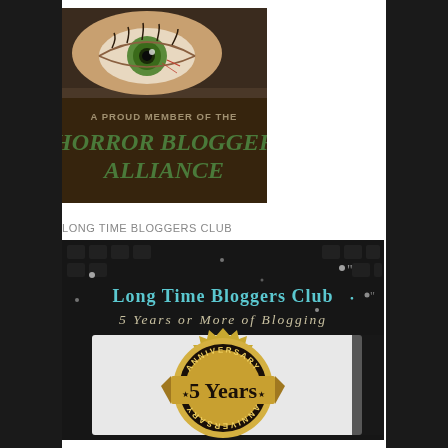[Figure (illustration): Horror Blogger Alliance badge — a close-up of a green eye over a dark textured background with text 'A PROUD MEMBER OF THE HORROR BLOGGER ALLIANCE']
LONG TIME BLOGGERS CLUB
[Figure (illustration): Long Time Bloggers Club banner — dark background with text 'Long Time Bloggers Club — 5 Years or More of Blogging' and a gold anniversary seal reading '5 Years' with 'ANNIVERSARY' arched top and bottom]